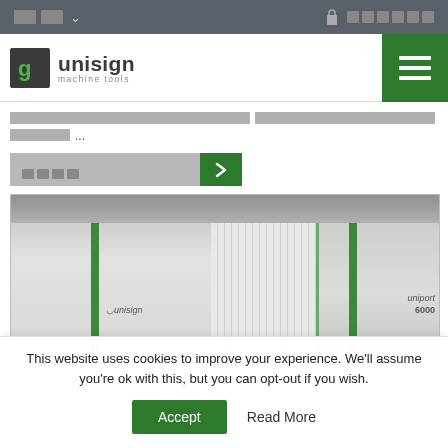[language selector] [login]
[Figure (logo): Unisign machine tools logo with green square icon and hamburger menu button]
[redacted text content]...
[button: redacted label with arrow]
[Figure (photo): Industrial CNC machine tools (Unisign uniport 6000) in a workshop setting, white and green colored machines]
This website uses cookies to improve your experience. We'll assume you're ok with this, but you can opt-out if you wish.
Accept   Read More